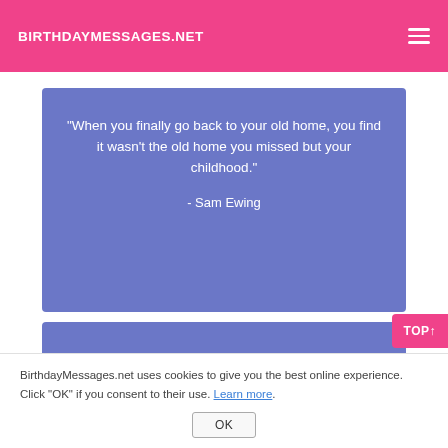BIRTHDAYMESSAGES.NET
[Figure (other): Quote card with blue/purple background. Text: "When you finally go back to your old home, you find it wasn't the old home you missed but your childhood." - Sam Ewing]
[Figure (other): Second quote card with blue/purple background, partially visible.]
BirthdayMessages.net uses cookies to give you the best online experience. Click "OK" if you consent to their use. Learn more.
OK